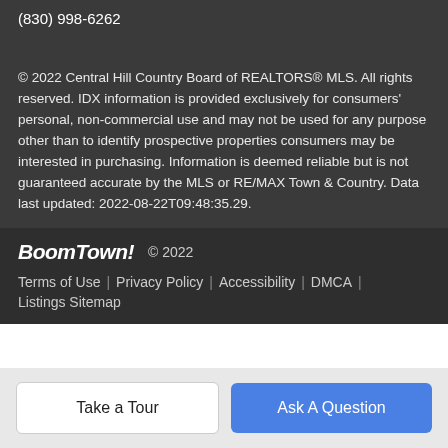(830) 998-6262
© 2022 Central Hill Country Board of REALTORS® MLS. All rights reserved. IDX information is provided exclusively for consumers' personal, non-commercial use and may not be used for any purpose other than to identify prospective properties consumers may be interested in purchasing. Information is deemed reliable but is not guaranteed accurate by the MLS or RE/MAX Town & Country. Data last updated: 2022-08-22T09:48:35.29.
BoomTown! © 2022
Terms of Use | Privacy Policy | Accessibility | DMCA | Listings Sitemap
Take a Tour
Ask A Question